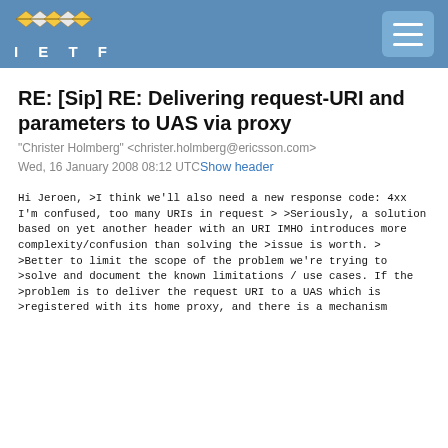IETF
RE: [Sip] RE: Delivering request-URI and parameters to UAS via proxy
"Christer Holmberg" <christer.holmberg@ericsson.com>
Wed, 16 January 2008 08:12 UTC Show header
Hi Jeroen,

>I think we'll also need a new response code: 4xx I'm confused, too many
URIs in request
>
>Seriously, a solution based on yet another header with an URI IMHO
introduces more complexity/confusion than solving the
>issue is worth.
>
>Better to limit the scope of the problem we're trying to
>solve and document the known limitations / use cases. If the
>problem is to deliver the request URI to a UAS which is
>registered with its home proxy, and there is a mechanism